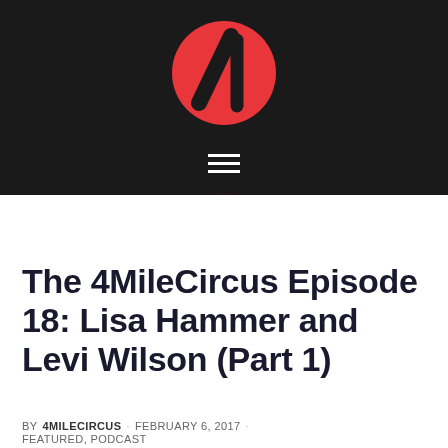[Figure (logo): 4MileCircus logo: red circle with bold black stylized number 4 and vertical bar]
≡
The 4MileCircus Episode 18: Lisa Hammer and Levi Wilson (Part 1)
BY 4MILECIRCUS · FEBRUARY 6, 2017 · FEATURED, PODCAST